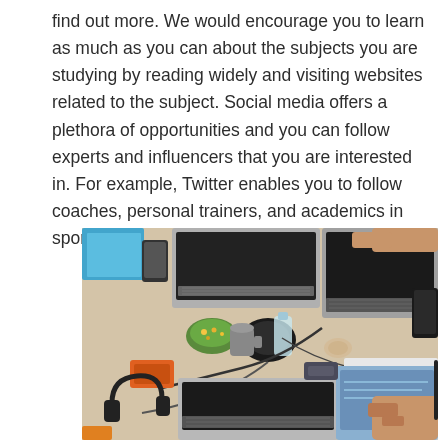find out more. We would encourage you to learn as much as you can about the subjects you are studying by reading widely and visiting websites related to the subject. Social media offers a plethora of opportunities and you can follow experts and influencers that you are interested in. For example, Twitter enables you to follow coaches, personal trainers, and academics in sport.
[Figure (photo): Overhead/top-down view of a busy work desk with multiple laptops, smartphones, notebooks, headphones, snacks, drinks, and cables, with several people's hands visible working at the desk.]